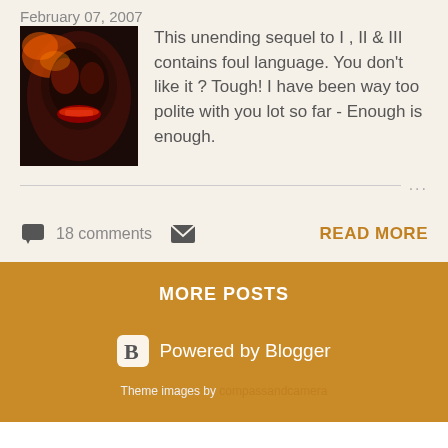February 07, 2007
[Figure (photo): Dark dramatic photo showing a stylized face/mask with red and orange lighting, appearing like a skull-like figure with big lips on a dark background]
This unending sequel to I , II & III contains foul language. You don't like it ? Tough! I have been way too polite with you lot so far - Enough is enough.
18 comments
READ MORE
MORE POSTS
Powered by Blogger
Theme images by compassandcamera